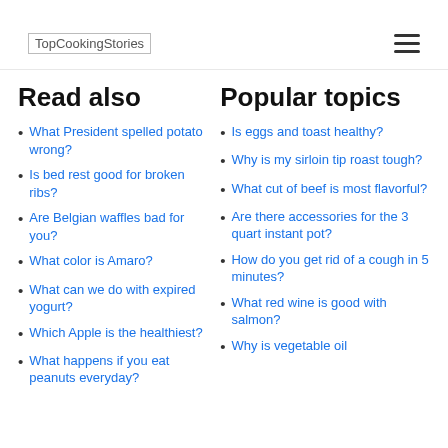TopCookingStories
Read also
What President spelled potato wrong?
Is bed rest good for broken ribs?
Are Belgian waffles bad for you?
What color is Amaro?
What can we do with expired yogurt?
Which Apple is the healthiest?
What happens if you eat peanuts everyday?
Popular topics
Is eggs and toast healthy?
Why is my sirloin tip roast tough?
What cut of beef is most flavorful?
Are there accessories for the 3 quart instant pot?
How do you get rid of a cough in 5 minutes?
What red wine is good with salmon?
Why is vegetable oil